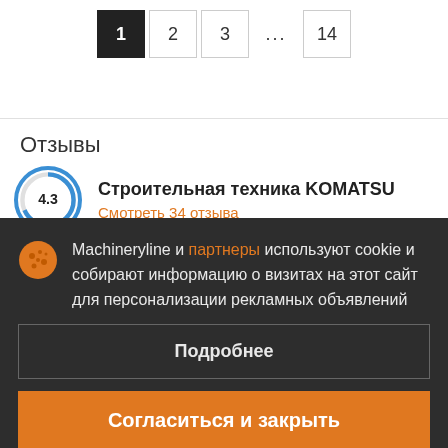[Figure (infographic): Pagination controls showing pages 1 (active/dark), 2, 3, ..., 14]
Отзывы
[Figure (infographic): Rating circle showing 4.3 with blue border arc, next to title 'Строительная техника KOMATSU' and link 'Смотреть 34 отзыва']
Machineryline и партнеры используют cookie и собирают информацию о визитах на этот сайт для персонализации рекламных объявлений
Подробнее
Согласиться и закрыть